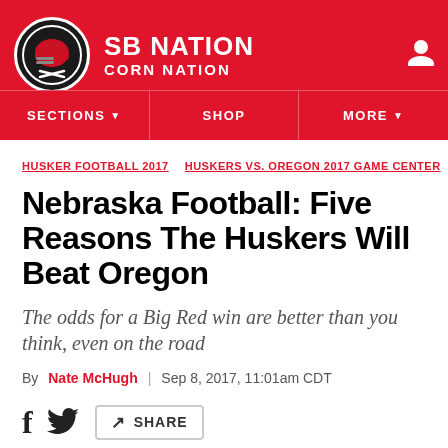SB NATION / CORN NATION
HUSKER FOOTBALL 2017  HUSKERS VS. OREGON 2017 GAME CENTER
Nebraska Football: Five Reasons The Huskers Will Beat Oregon
The odds for a Big Red win are better than you think, even on the road
By Nate McHugh | Sep 8, 2017, 11:01am CDT